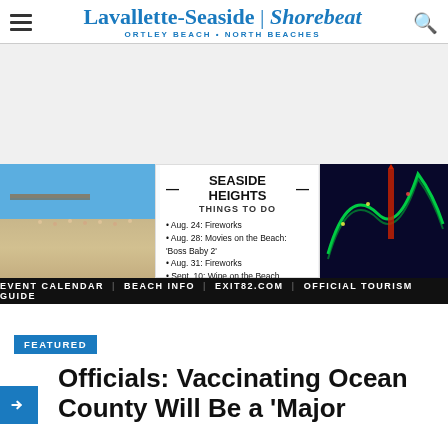Lavallette-Seaside | Shorebeat — ORTLEY BEACH • NORTH BEACHES
[Figure (other): Gray advertisement placeholder area]
[Figure (infographic): Seaside Heights banner ad showing beach photo on left, roller coaster at night on right, center white box listing Things To Do: Aug. 24 Fireworks, Aug. 28 Movies on the Beach Boss Baby 2, Aug. 31 Fireworks, Sept. 10 Wine on the Beach. Bottom black bar: EVENT CALENDAR | BEACH INFO | EXIT82.COM | OFFICIAL TOURISM GUIDE]
FEATURED
Officials: Vaccinating Ocean County Will Be a 'Major